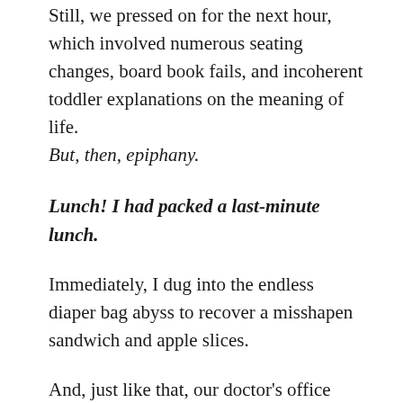Still, we pressed on for the next hour, which involved numerous seating changes, board book fails, and incoherent toddler explanations on the meaning of life. But, then, epiphany.
Lunch! I had packed a last-minute lunch.
Immediately, I dug into the endless diaper bag abyss to recover a misshapen sandwich and apple slices.
And, just like that, our doctor's office picnic quieted the doubts.
In that moment, I remembered that what we all want – parents and non-parents alike – is the same: to know that our love made a difference.